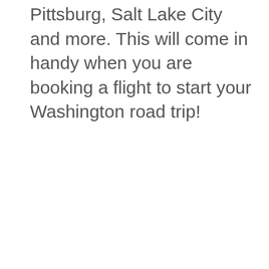Pittsburg, Salt Lake City and more. This will come in handy when you are booking a flight to start your Washington road trip!